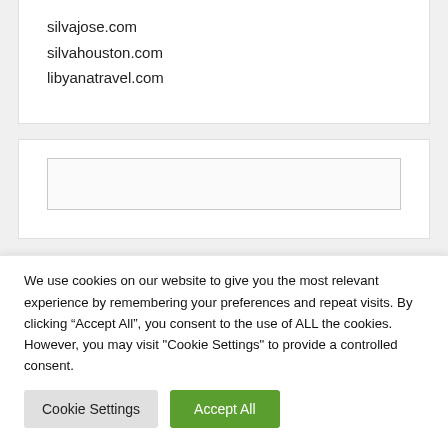silvajose.com
silvahouston.com
libyanatravel.com
[Figure (screenshot): An empty text input box with a light border on a white card background.]
wor
We use cookies on our website to give you the most relevant experience by remembering your preferences and repeat visits. By clicking “Accept All”, you consent to the use of ALL the cookies. However, you may visit "Cookie Settings" to provide a controlled consent.
Cookie Settings | Accept All